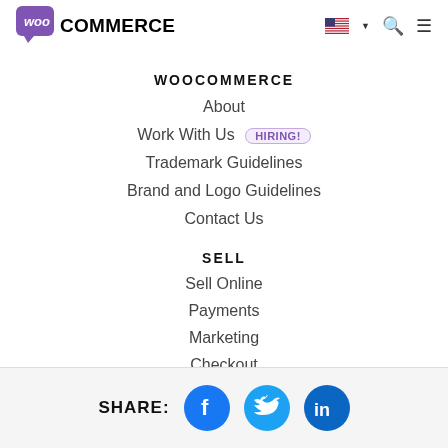WooCommerce — navigation header with logo, flag/language selector, search, and menu icons
WOOCOMMERCE
About
Work With Us  HIRING!
Trademark Guidelines
Brand and Logo Guidelines
Contact Us
SELL
Sell Online
Payments
Marketing
Checkout
SHARE: Facebook, Twitter, LinkedIn